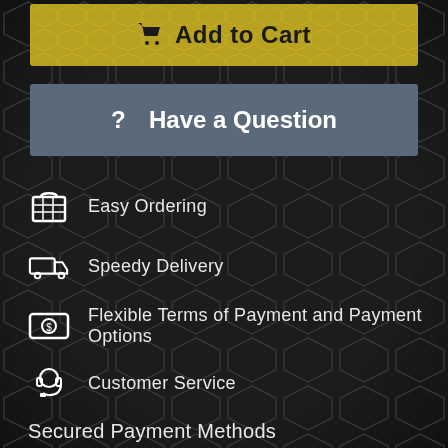[Figure (screenshot): Dark hexagonal patterned background covering the full page]
Add to Cart
? Have a Question
Easy Ordering
Speedy Delivery
Flexible Terms of Payment and Payment Options
Customer Service
Secured Payment Methods
[Figure (other): Six white payment method card placeholders arranged in two rows]